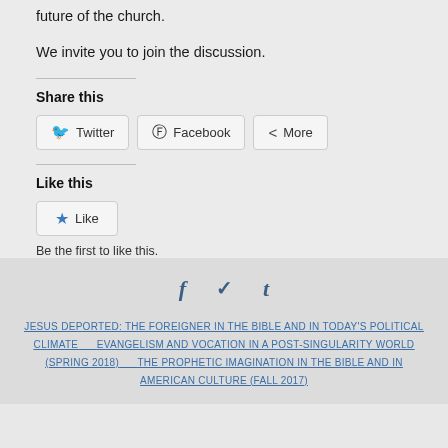future of the church.
We invite you to join the discussion.
Share this
Twitter  Facebook  More
Like this
Like
Be the first to like this.
f  y  t
JESUS DEPORTED: THE FOREIGNER IN THE BIBLE AND IN TODAY'S POLITICAL CLIMATE   EVANGELISM AND VOCATION IN A POST-SINGULARITY WORLD (SPRING 2018)   THE PROPHETIC IMAGINATION IN THE BIBLE AND IN AMERICAN CULTURE (FALL 2017)